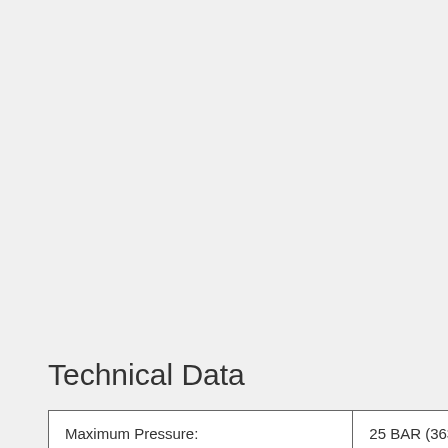Technical Data
| Maximum Pressure: | 25 BAR (363PS... |
|  |  |